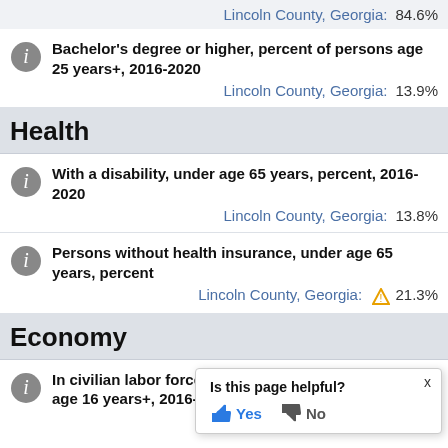Lincoln County, Georgia: 84.6%
Bachelor's degree or higher, percent of persons age 25 years+, 2016-2020
Lincoln County, Georgia: 13.9%
Health
With a disability, under age 65 years, percent, 2016-2020
Lincoln County, Georgia: 13.8%
Persons without health insurance, under age 65 years, percent
Lincoln County, Georgia: ⚠ 21.3%
Economy
In civilian labor force, total, percent, age 16 years+, 2016-2020